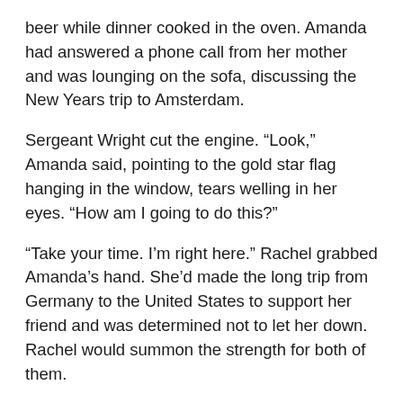beer while dinner cooked in the oven. Amanda had answered a phone call from her mother and was lounging on the sofa, discussing the New Years trip to Amsterdam.
Sergeant Wright cut the engine. “Look,” Amanda said, pointing to the gold star flag hanging in the window, tears welling in her eyes. “How am I going to do this?”
“Take your time. I’m right here.” Rachel grabbed Amanda’s hand. She’d made the long trip from Germany to the United States to support her friend and was determined not to let her down. Rachel would summon the strength for both of them.
A gentleman dressed in a dark suit and holding a smart phone descended the front porch steps and approached the vehicle. Sergeant Wright exited the vehicle. “I have